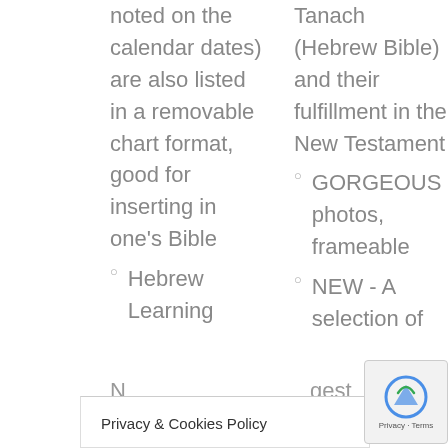noted on the calendar dates) are also listed in a removable chart format, good for inserting in one's Bible
Tanach (Hebrew Bible) and their fulfillment in the New Testament
GORGEOUS photos, frameable
Hebrew Learning
NEW - A selection of
N... gest...
Privacy & Cookies Policy